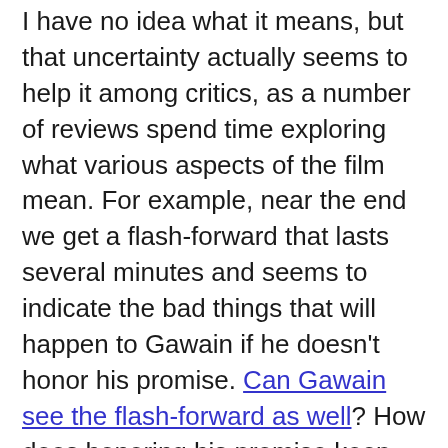I have no idea what it means, but that uncertainty actually seems to help it among critics, as a number of reviews spend time exploring what various aspects of the film mean. For example, near the end we get a flash-forward that lasts several minutes and seems to indicate the bad things that will happen to Gawain if he doesn't honor his promise. Can Gawain see the flash-forward as well? How does honoring his promise keep those bad things from happening? A number of critics don't care so much about the answer, but rather that they're still thinking about the question days later. And it probably doesn't hurt that a lot of film critics are also literary buffs who know the original poem to see when changes are made.